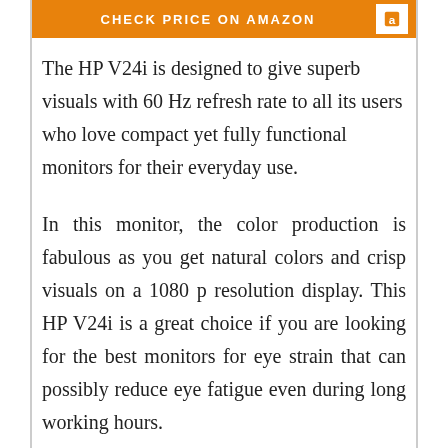[Figure (other): Orange banner with white uppercase text 'CHECK PRICE ON AMAZON' and a white icon box on the right]
The HP V24i is designed to give superb visuals with 60 Hz refresh rate to all its users who love compact yet fully functional monitors for their everyday use.
In this monitor, the color production is fabulous as you get natural colors and crisp visuals on a 1080 p resolution display. This HP V24i is a great choice if you are looking for the best monitors for eye strain that can possibly reduce eye fatigue even during long working hours.
The low light mode of this monitor is perfect for